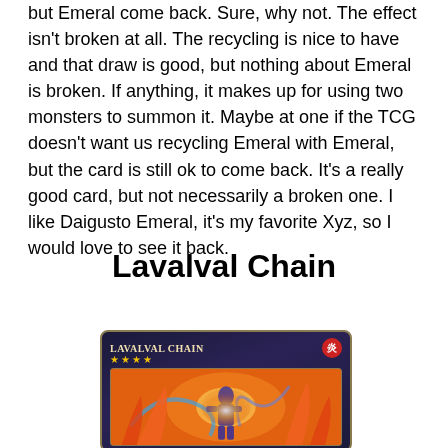but Emeral come back. Sure, why not. The effect isn't broken at all. The recycling is nice to have and that draw is good, but nothing about Emeral is broken. If anything, it makes up for using two monsters to summon it. Maybe at one if the TCG doesn't want us recycling Emeral with Emeral, but the card is still ok to come back. It's a really good card, but not necessarily a broken one. I like Daigusto Emeral, it's my favorite Xyz, so I would love to see it back.
Lavalval Chain
[Figure (illustration): Yu-Gi-Oh trading card for Lavalval Chain showing the card frame with title 'LAVALVAL CHAIN', four stars, a fire attribute symbol, and card artwork depicting a figure surrounded by flames and fire effects in blue and orange colors]